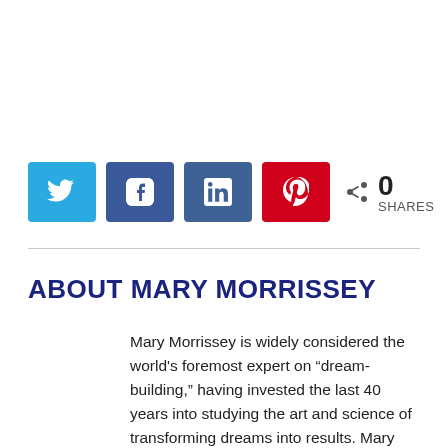[Figure (infographic): Social share buttons row: Twitter (blue), Facebook (blue), LinkedIn (steel blue), Pinterest (red), share count icon with 0 SHARES]
ABOUT MARY MORRISSEY
Mary Morrissey is widely considered the world's foremost expert on “dream-building,” having invested the last 40 years into studying the art and science of transforming dreams into results. Mary has also written two best-selling books, addressed the United Nations three times, co-convened three week-long